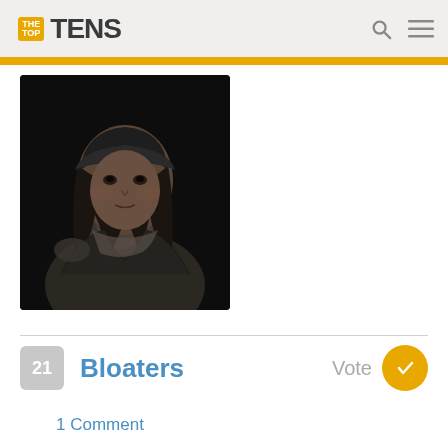THE TOP TENS
[Figure (photo): Dark screenshot of a video game character – a person with long hair, dark headwear, and a worn jacket/scarf, set against a near-black background]
21  Bloaters  Vote
1 Comment